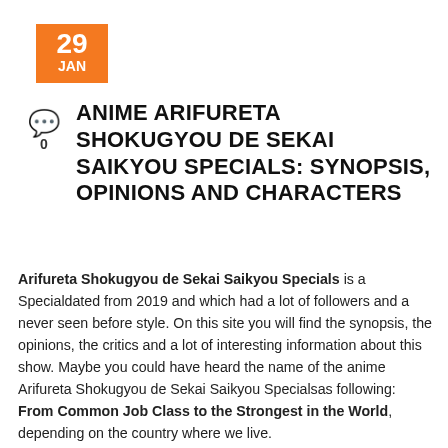29 JAN
ANIME ARIFURETA SHOKUGYOU DE SEKAI SAIKYOU SPECIALS: SYNOPSIS, OPINIONS AND CHARACTERS
Arifureta Shokugyou de Sekai Saikyou Specials is a Specialdated from 2019 and which had a lot of followers and a never seen before style. On this site you will find the synopsis, the opinions, the critics and a lot of interesting information about this show. Maybe you could have heard the name of the anime Arifureta Shokugyou de Sekai Saikyou Specialsas following: From Common Job Class to the Strongest in the World, depending on the country where we live.